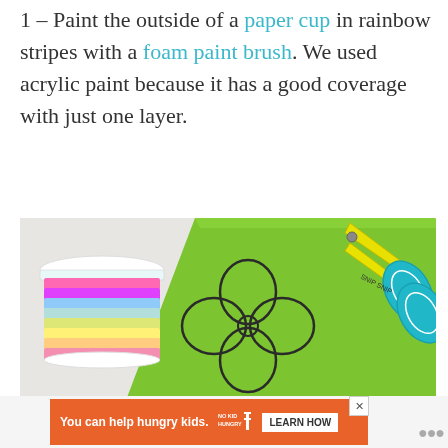1 – Paint the outside of a paper cup in rainbow stripes with a foam paint brush. We used acrylic paint because it has a good coverage with just one layer.
[Figure (photo): Photo showing a stack of rainbow-colored paper cups on the left, green construction paper with a four-leaf clover outline in the center, teal-handled children's scissors (Snip Snip brand) at top right, and a cut-out green clover shape at bottom right, all on a white wooden surface.]
You can help hungry kids. NO KID HUNGRY LEARN HOW